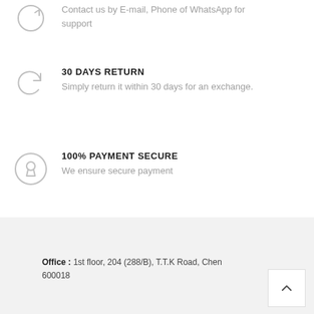Contact us by E-mail, Phone of WhatsApp for support
30 DAYS RETURN
Simply return it within 30 days for an exchange.
100% PAYMENT SECURE
We ensure secure payment
Office : 1st floor, 204 (288/B), T.T.K Road, Chen 600018